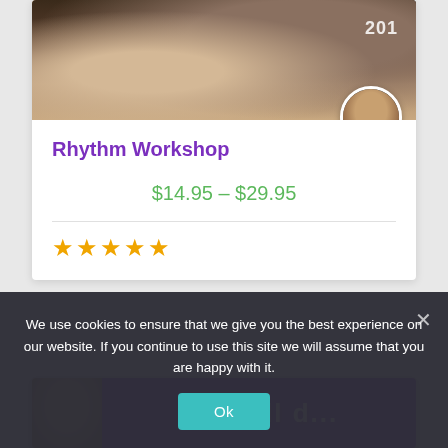[Figure (photo): Guitar player holding an electric guitar, thumbnail image for Rhythm Workshop course. An avatar/profile photo of a bearded man in a black shirt overlaps the bottom-right corner. Year '2019' partially visible in top right.]
Rhythm Workshop
$14.95 – $29.95
[Figure (other): Five gold star rating icons indicating a 5-star review rating]
[Figure (photo): Second course card showing a man's face on the left and a purple banner with large white text on the right (text partially cut off)]
We use cookies to ensure that we give you the best experience on our website. If you continue to use this site we will assume that you are happy with it.